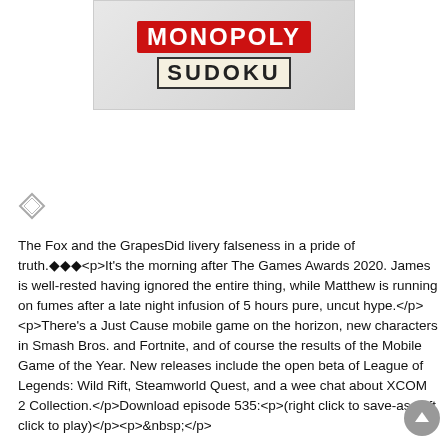[Figure (logo): Monopoly Sudoku game logo — red banner with white MONOPOLY text above tan/cream box with black SUDOKU text, on a light grey gradient background]
[Figure (other): Small diamond/shield shaped icon, grey outline]
The Fox and the GrapesDid livery falseness in a pride of truth.◆◆◆<p>It's the morning after The Games Awards 2020. James is well-rested having ignored the entire thing, while Matthew is running on fumes after a late night infusion of 5 hours pure, uncut hype.</p><p>There's a Just Cause mobile game on the horizon, new characters in Smash Bros. and Fortnite, and of course the results of the Mobile Game of the Year. New releases include the open beta of League of Legends: Wild Rift, Steamworld Quest, and a wee chat about XCOM 2 Collection.</p>Download episode 535:<p>(right click to save-as, left click to play)</p><p>&nbsp;</p>